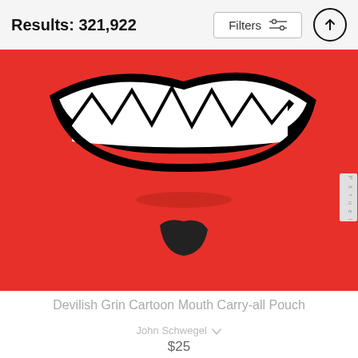Results: 321,922
[Figure (illustration): A red cartoon face with a devilish grin showing jagged white teeth and a black goatee/chin mark, on a bright red background. Watermark label 'PXfuel' on the right edge.]
Devilish Grin Cartoon Mouth Carry-all Pouch
John Schwegel
$25
[Figure (photo): Bottom portion of a carry-all pouch with golden zipper, light blue fabric visible below the zipper, partially cropped.]